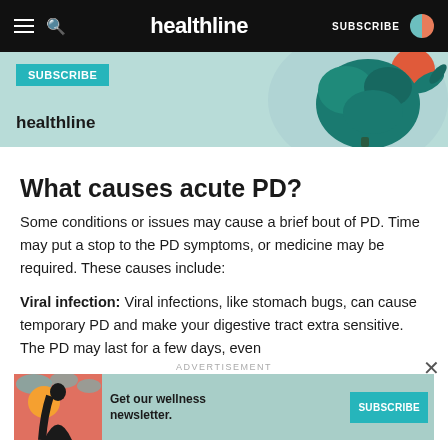healthline — SUBSCRIBE
[Figure (illustration): Healthline subscription advertisement banner with broccoli and carrot illustration on teal background]
What causes acute PD?
Some conditions or issues may cause a brief bout of PD. Time may put a stop to the PD symptoms, or medicine may be required. These causes include:
Viral infection: Viral infections, like stomach bugs, can cause temporary PD and make your digestive tract extra sensitive. The PD may last for a few days, even
[Figure (illustration): Healthline wellness newsletter subscription advertisement with illustrated woman figure on coral/teal background]
ADVERTISEMENT